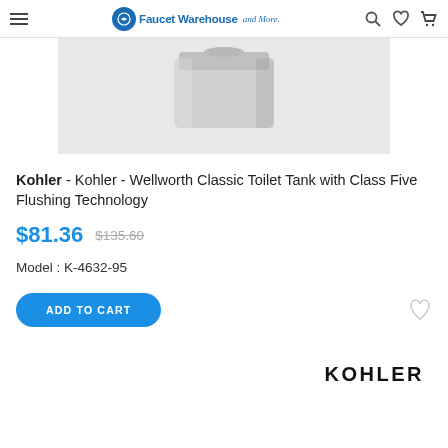Faucet Warehouse and More
[Figure (photo): Partial product photo of a Kohler toilet tank, light grey background]
Kohler - Kohler - Wellworth Classic Toilet Tank with Class Five Flushing Technology
$81.36  $135.60
Model : K-4632-95
ADD TO CART
[Figure (logo): KOHLER brand logo in bold black text]